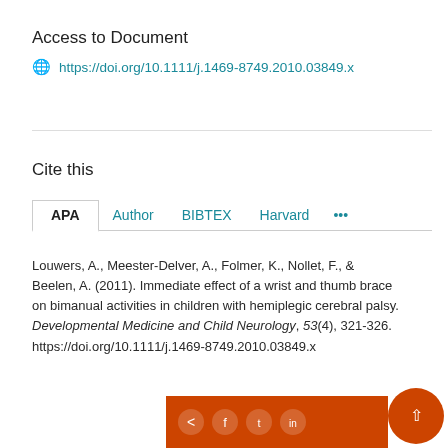Access to Document
https://doi.org/10.1111/j.1469-8749.2010.03849.x
Cite this
APA  Author  BIBTEX  Harvard  ...
Louwers, A., Meester-Delver, A., Folmer, K., Nollet, F., & Beelen, A. (2011). Immediate effect of a wrist and thumb brace on bimanual activities in children with hemiplegic cerebral palsy. Developmental Medicine and Child Neurology, 53(4), 321-326. https://doi.org/10.1111/j.1469-8749.2010.03849.x